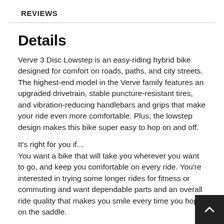REVIEWS
Details
Verve 3 Disc Lowstep is an easy-riding hybrid bike designed for comfort on roads, paths, and city streets. The highest-end model in the Verve family features an upgraded drivetrain, stable puncture-resistant tires, and vibration-reducing handlebars and grips that make your ride even more comfortable. Plus, the lowstep design makes this bike super easy to hop on and off.
It's right for you if...
You want a bike that will take you wherever you want to go, and keep you comfortable on every ride. You're interested in trying some longer rides for fitness or commuting and want dependable parts and an overall ride quality that makes you smile every time you hop on the saddle.